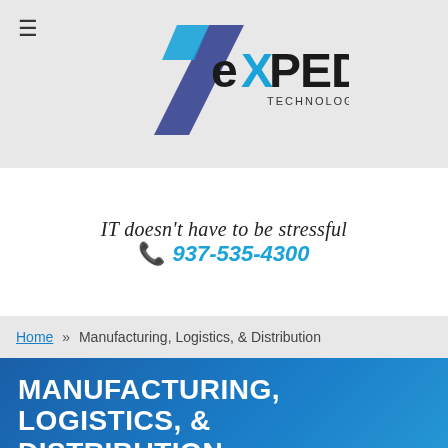[Figure (logo): Expedient Technology Solutions LLC logo with blue diagonal slash mark and company name]
IT doesn't have to be stressful
📞 937-535-4300
Home » Manufacturing, Logistics, & Distribution
MANUFACTURING, LOGISTICS, & DISTRIBUTION